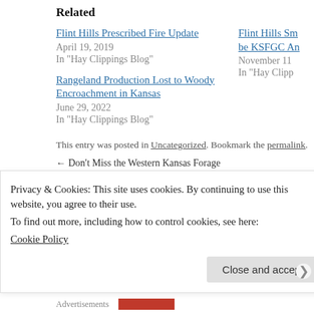Related
Flint Hills Prescribed Fire Update
April 19, 2019
In "Hay Clippings Blog"
Flint Hills Sm...
be KSFGC An...
November 11...
In "Hay Clipp..."
Rangeland Production Lost to Woody Encroachment in Kansas
June 29, 2022
In "Hay Clippings Blog"
This entry was posted in Uncategorized. Bookmark the permalink.
← Don't Miss the Western Kansas Forage
Prescribe...
Privacy & Cookies: This site uses cookies. By continuing to use this website, you agree to their use.
To find out more, including how to control cookies, see here:
Cookie Policy
Close and accept
Advertisements